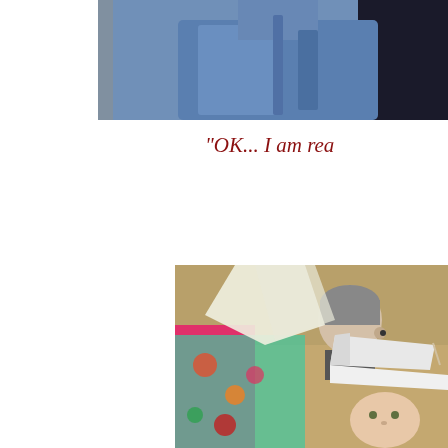[Figure (photo): Top image showing a person in a blue shirt, cropped torso/shoulder area, on a dark background]
"OK... I am rea
[Figure (photo): Bottom image showing people at what appears to be a graduation ceremony — a child wearing a white graduation cap, a person in a colorful floral outfit with hand raised, and a man with gray hair wearing an earpiece in the background]